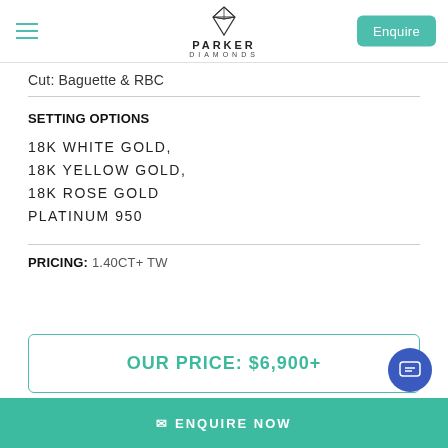Parker Diamonds — Enquire
Cut: Baguette & RBC
SETTING OPTIONS
18K WHITE GOLD,
18K YELLOW GOLD,
18K ROSE GOLD
PLATINUM 950
PRICING: 1.40CT+ TW
OUR PRICE: $6,900+
✉ ENQUIRE NOW